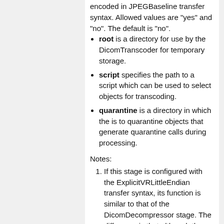root is a directory for use by the DicomTranscoder for temporary storage.
script specifies the path to a script which can be used to select objects for transcoding.
quarantine is a directory in which the is to quarantine objects that generate quarantine calls during processing.
Notes:
If this stage is configured with the ExplicitVRLittleEndian transfer syntax, its function is similar to that of the DicomDecompressor stage. The difference is that although the output of the